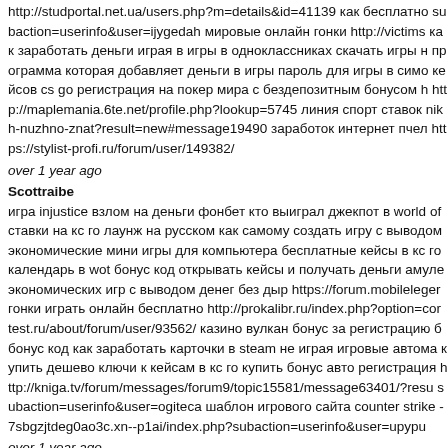http://studportal.net.ua/users.php?m=details&id=41139 как бесплатно subaction=userinfo&user=ijygedah мировые онлайн гонки http://victims как заработать деньги играя в игры в одноклассниках скачать игры н программа которая добавляет деньги в игры пароль для игры в симо кейсов cs go регистрация на покер мира с бездепозитным бонусом h http://maplemania.6te.net/profile.php?lookup=5745 линия спорт ставок nikh-nuzhno-znat?result=new#message19490 заработок интернет пчел https://stylist-profi.ru/forum/user/149382/
over 1 year ago
Scottraibe
игра injustice взлом на деньги фонбет кто выиграл джекпот в world of ставки на кс го лаунж на русском как самому создать игру с выводом экономические мини игры для компьютера бесплатные кейсы в кс го календарь в wot бонус код открывать кейсы и получать деньги амуле экономических игр с выводом денег без дыр https://forum.mobileleger гонки играть онлайн бесплатно http://prokalibr.ru/index.php?option=cor test.ru/about/forum/user/93562/ казино вулкан бонус за регистрацию б бонус код как заработать карточки в steam не играя игровые автома купить дешево ключи к кейсам в кс го купить бонус авто регистрация http://kniga.tv/forum/messages/forum9/topic15581/message63401/?resu subaction=userinfo&user=ogiteca шаблон игрового сайта counter strike -7sbgzjtdeg0ao3c.xn--p1ai/index.php?subaction=userinfo&user=upypu
over 1 year ago